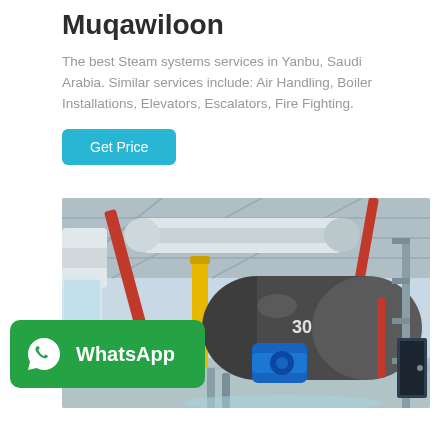Muqawiloon
The best Steam systems services in Yanbu, Saudi Arabia. Similar services include: Air Handling, Boiler Installations, Elevators, Escalators, Fire Fighting.
[Figure (other): A 'Get Price' button in teal/cyan color]
[Figure (photo): Industrial boiler room interior showing large cylindrical boilers, yellow and red pipes, metal ductwork and industrial equipment]
[Figure (logo): WhatsApp badge with white phone icon on green background and 'WhatsApp' text in white]